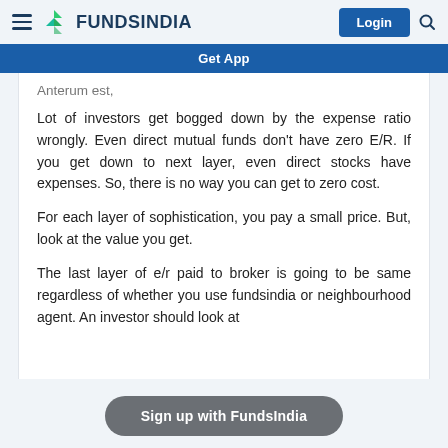FUNDSINDIA — Login
Get App
Anterum est,
Lot of investors get bogged down by the expense ratio wrongly. Even direct mutual funds don't have zero E/R. If you get down to next layer, even direct stocks have expenses. So, there is no way you can get to zero cost.
For each layer of sophistication, you pay a small price. But, look at the value you get.
The last layer of e/r paid to broker is going to be same regardless of whether you use fundsindia or neighbourhood agent. An investor should look at
Sign up with FundsIndia